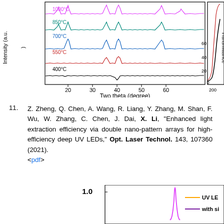[Figure (continuous-plot): XRD patterns (Intensity vs Two theta in degrees) for samples annealed at different temperatures: 400°C (black), 550°C (red), 700°C (blue), 850°C (teal), 1000°C (magenta). X-axis from ~15 to 65 degrees (Two theta). Y-axis labeled Intensity (a.u.). Partial second plot visible on right showing Transmittance axis (0-60) starting at 200 nm.]
11. Z. Zheng, Q. Chen, A. Wang, R. Liang, Y. Zhang, M. Shan, F. Wu, W. Zhang, C. Chen, J. Dai, X. Li, "Enhanced light extraction efficiency via double nano-pattern arrays for high-efficiency deep UV LEDs," Opt. Laser Technol. 143, 107360 (2021). <pdf>
[Figure (continuous-plot): Partial bottom chart showing y-axis label '1.0' on left side, a magenta sharp peak visible in the middle area, and legend entries: orange line 'UV LE...' and purple line 'with si...' on the right side.]